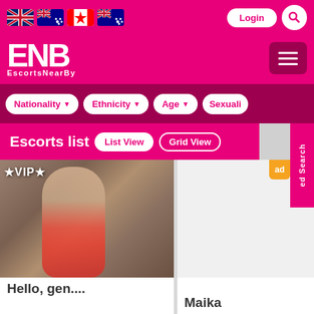[Figure (screenshot): EscortsNearBy website screenshot showing navigation with flag icons (UK, Australia, Canada, Australia), ENB logo, filter buttons (Nationality, Ethnicity, Age, Sexuality), escorts list view with VIP listing photo of woman in red bikini, and Maika listing]
Login
ENB EscortsNearBy
Nationality ▼  Ethnicity ▼  Age ▼  Sexuali...
Escorts list
List View
Grid View
★VIP★
Hello, gen....
Maika
ed Search
ad